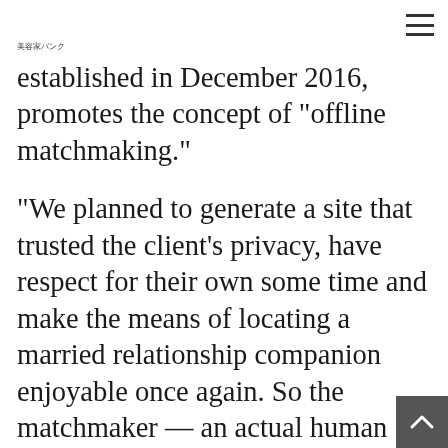美容家バンク
established in December 2016, promotes the concept of “offline matchmaking.”
“We planned to generate a site that trusted the client’s privacy, have respect for their own some time and make the means of locating a married relationship companion enjoyable once again. So the matchmaker — an actual human being, maybe not some type of computer or website lookup standards — do most of the first jobs. The matchmakers choose